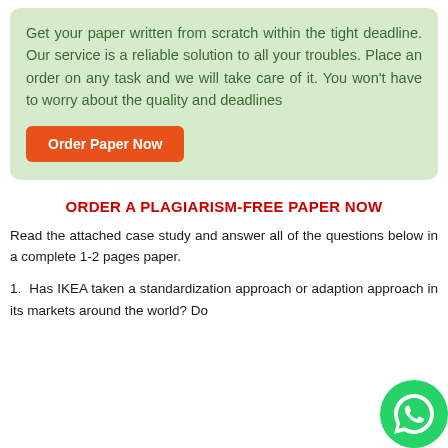Get your paper written from scratch within the tight deadline. Our service is a reliable solution to all your troubles. Place an order on any task and we will take care of it. You won't have to worry about the quality and deadlines
Order Paper Now
ORDER A PLAGIARISM-FREE PAPER NOW
Read the attached case study and answer all of the questions below in a complete 1-2 pages paper.
1. Has IKEA taken a standardization approach or adaption approach in its markets around the world? Do